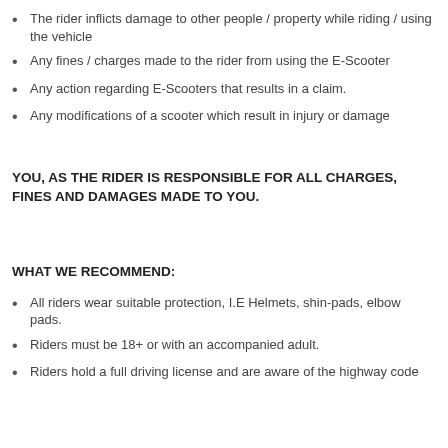The rider inflicts damage to other people / property while riding / using the vehicle
Any fines / charges made to the rider from using the E-Scooter
Any action regarding E-Scooters that results in a claim.
Any modifications of a scooter which result in injury or damage
YOU, AS THE RIDER IS RESPONSIBLE FOR ALL CHARGES, FINES AND DAMAGES MADE TO YOU.
WHAT WE RECOMMEND:
All riders wear suitable protection, I.E Helmets, shin-pads, elbow pads.
Riders must be 18+ or with an accompanied adult.
Riders hold a full driving license and are aware of the highway code